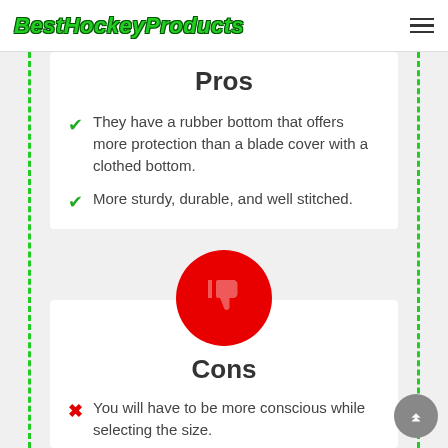BestHockeyProducts
Pros
They have a rubber bottom that offers more protection than a blade cover with a clothed bottom.
More sturdy, durable, and well stitched.
[Figure (illustration): Red circle with thumbs down icon]
Cons
You will have to be more conscious while selecting the size.